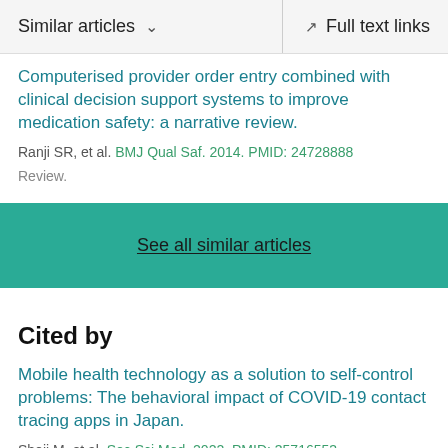Similar articles    Full text links
Computerised provider order entry combined with clinical decision support systems to improve medication safety: a narrative review.
Ranji SR, et al. BMJ Qual Saf. 2014. PMID: 24728888
Review.
See all similar articles
Cited by
Mobile health technology as a solution to self-control problems: The behavioral impact of COVID-19 contact tracing apps in Japan.
Shoji M, et al. Soc Sci Med. 2022. PMID: 35716553